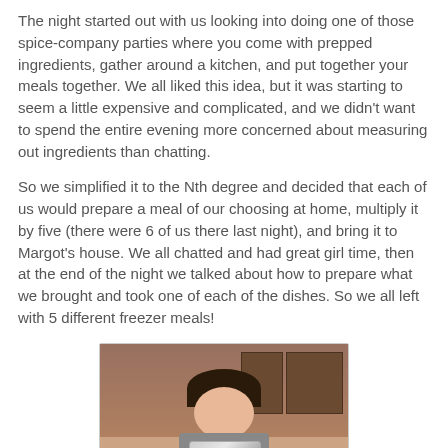The night started out with us looking into doing one of those spice-company parties where you come with prepped ingredients, gather around a kitchen, and put together your meals together. We all liked this idea, but it was starting to seem a little expensive and complicated, and we didn't want to spend the entire evening more concerned about measuring out ingredients than chatting.
So we simplified it to the Nth degree and decided that each of us would prepare a meal of our choosing at home, multiply it by five (there were 6 of us there last night), and bring it to Margot's house. We all chatted and had great girl time, then at the end of the night we talked about how to prepare what we brought and took one of each of the dishes. So we all left with 5 different freezer meals!
[Figure (photo): A woman smiling and holding silver freezer meal bags in a kitchen setting]